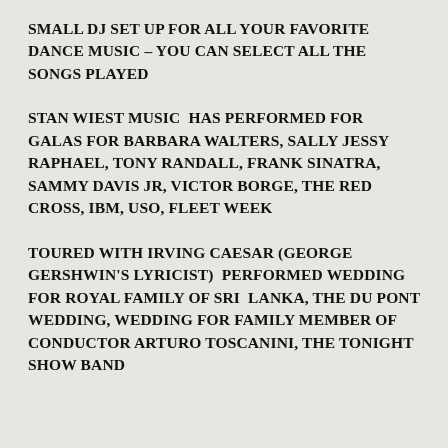SMALL DJ SET UP FOR ALL YOUR FAVORITE DANCE MUSIC – YOU CAN SELECT ALL THE SONGS PLAYED
STAN WIEST MUSIC  HAS PERFORMED FOR GALAS FOR BARBARA WALTERS, SALLY JESSY RAPHAEL, TONY RANDALL, FRANK SINATRA, SAMMY DAVIS JR, VICTOR BORGE, THE RED CROSS, IBM, USO, FLEET WEEK
TOURED WITH IRVING CAESAR (GEORGE GERSHWIN'S LYRICIST)  PERFORMED WEDDING FOR ROYAL FAMILY OF SRI  LANKA, THE DU PONT WEDDING, WEDDING FOR FAMILY MEMBER OF CONDUCTOR ARTURO TOSCANINI, THE TONIGHT SHOW BAND